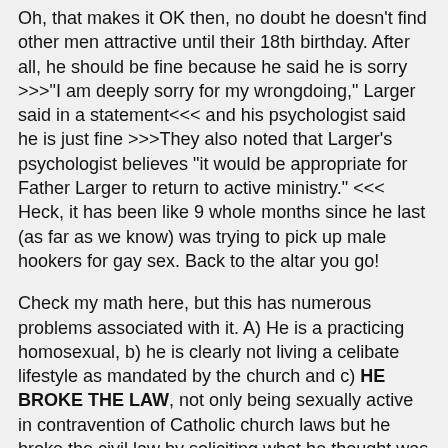Oh, that makes it OK then, no doubt he doesn't find other men attractive until their 18th birthday. After all, he should be fine because he said he is sorry >>>"I am deeply sorry for my wrongdoing," Larger said in a statement<<< and his psychologist said he is just fine >>>They also noted that Larger's psychologist believes "it would be appropriate for Father Larger to return to active ministry." <<< Heck, it has been like 9 whole months since he last (as far as we know) was trying to pick up male hookers for gay sex. Back to the altar you go!
Check my math here, but this has numerous problems associated with it. A) He is a practicing homosexual, b) he is clearly not living a celibate lifestyle as mandated by the church and c) HE BROKE THE LAW, not only being sexually active in contravention of Catholic church laws but he broke the civil law by soliciting what he thought was a prostitute. So he is an oathbreaker to the church and a common criminal. This guy is sneaking off to Dayton to solicit some guy in a park for random sex. But it is OK because the person he was soliciting wasn't a child.
So once the man got out of the cell...